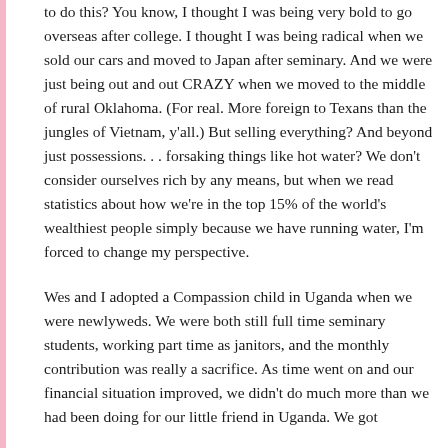to do this? You know, I thought I was being very bold to go overseas after college. I thought I was being radical when we sold our cars and moved to Japan after seminary. And we were just being out and out CRAZY when we moved to the middle of rural Oklahoma. (For real. More foreign to Texans than the jungles of Vietnam, y'all.) But selling everything? And beyond just possessions. . . forsaking things like hot water? We don't consider ourselves rich by any means, but when we read statistics about how we're in the top 15% of the world's wealthiest people simply because we have running water, I'm forced to change my perspective.
Wes and I adopted a Compassion child in Uganda when we were newlyweds. We were both still full time seminary students, working part time as janitors, and the monthly contribution was really a sacrifice. As time went on and our financial situation improved, we didn't do much more than we had been doing for our little friend in Uganda. We got